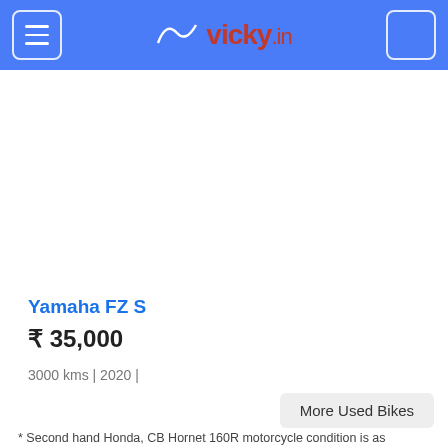vicky.in
Yamaha FZ S
₹ 35,000
3000 kms | 2020 |
More Used Bikes
* Second hand Honda, CB Hornet 160R motorcycle condition is as described by the individual owner. Proper inspection is required before